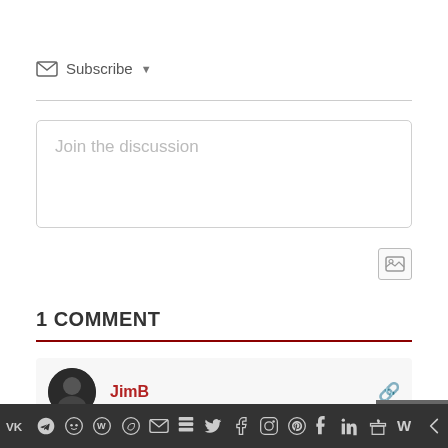Subscribe
Join the discussion
1 COMMENT
JimB
26 January, 2017 1:52 am
From looking at his Twitter feed, browsing the comments, it's